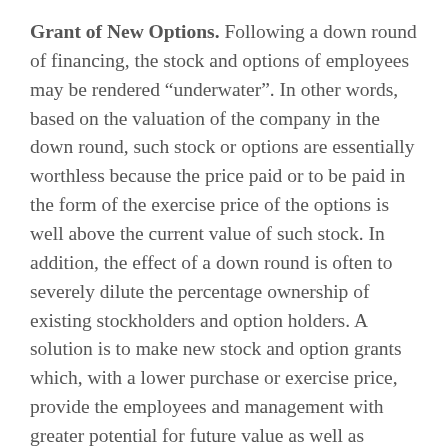Grant of New Options. Following a down round of financing, the stock and options of employees may be rendered "underwater". In other words, based on the valuation of the company in the down round, such stock or options are essentially worthless because the price paid or to be paid in the form of the exercise price of the options is well above the current value of such stock. In addition, the effect of a down round is often to severely dilute the percentage ownership of existing stockholders and option holders. A solution is to make new stock and option grants which, with a lower purchase or exercise price, provide the employees and management with greater potential for future value as well as increasing their ownership stake in the company. Expanding on the above hypothetical for purposes of illustration, option grants could be made to existing employees to increase ownership